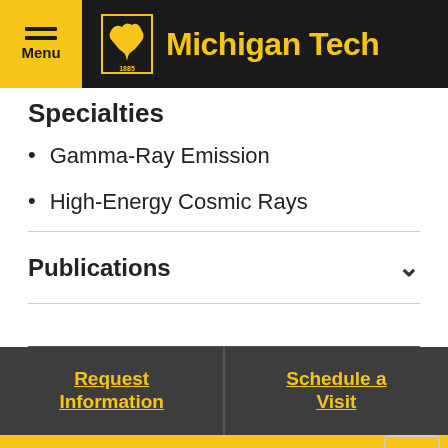Menu | Michigan Tech
Specialties
Gamma-Ray Emission
High-Energy Cosmic Rays
Publications
Request Information
Schedule a Visit
Apply
Top